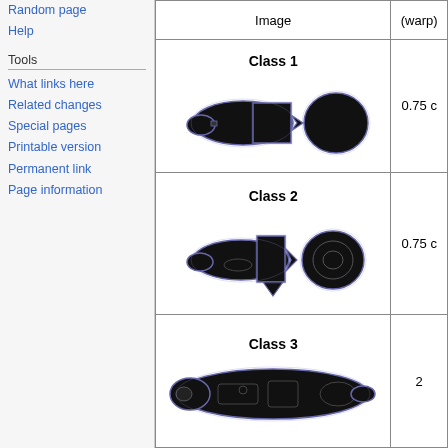Random page
Help
Tools
What links here
Related changes
Special pages
Printable version
Permanent link
Page information
| Image | (warp) |
| --- | --- |
| Class 1 [image] | 0.75 c |
| Class 2 [image] | 0.75 c |
| Class 3 [image] | 2 |